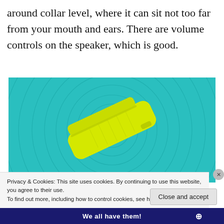around collar level, where it can sit not too far from your mouth and ears. There are volume controls on the speaker, which is good.
[Figure (photo): A yellow rectangular clip-style Bluetooth speaker device lying on a teal/turquoise surface with concentric circular grooves.]
Privacy & Cookies: This site uses cookies. By continuing to use this website, you agree to their use.
To find out more, including how to control cookies, see here: Cookie Policy
Close and accept
We all have them!